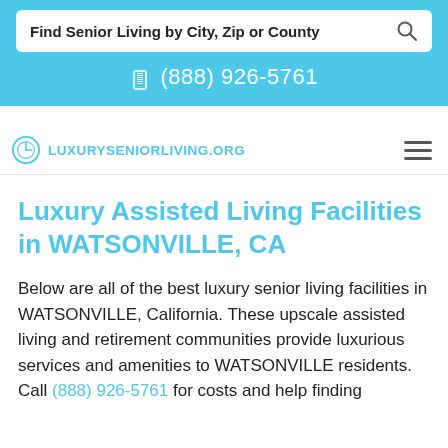Find Senior Living by City, Zip or County
(888) 926-5761
LUXURYSENIORLIVING.ORG
Luxury Assisted Living Facilities in WATSONVILLE, CA
Below are all of the best luxury senior living facilities in WATSONVILLE, California. These upscale assisted living and retirement communities provide luxurious services and amenities to WATSONVILLE residents. Call (888) 926-5761 for costs and help finding